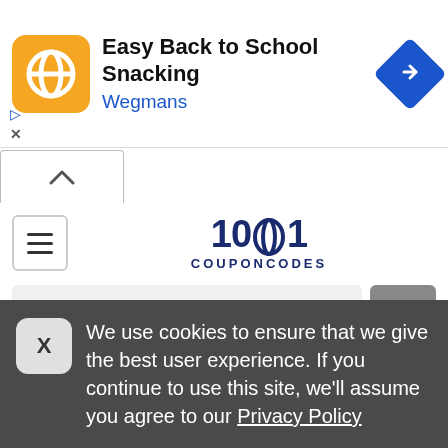[Figure (screenshot): Advertisement banner for Wegmans: Easy Back to School Snacking with orange logo and blue arrow icon]
[Figure (logo): 1001 Couponcodes website logo with hamburger menu icon]
search stores
Coupons » StubHub » HK: K-pop Events at StubHub. Shop now
STUBHUB PROMO CODE CODE AUSTRALIA
We use cookies to ensure that we give the best user experience. If you continue to use this site, we'll assume you agree to our Privacy Policy